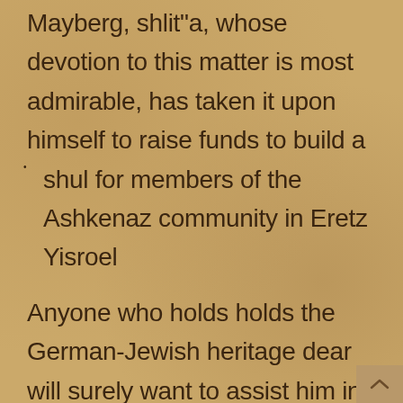Ashkenaz community. Rav Moshe Mayberg, shlit"a, whose devotion to this matter is most admirable, has taken it upon himself to raise funds to build a shul for members of the Ashkenaz community in Eretz Yisroel

Anyone who holds holds the German-Jewish heritage dear will surely want to assist him in any way possible. And may G-d save the sons for the sake of the